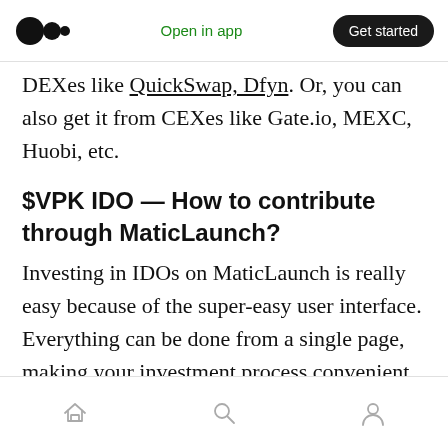Open in app | Get started
DEXes like QuickSwap, Dfyn. Or, you can also get it from CEXes like Gate.io, MEXC, Huobi, etc.
$VPK IDO — How to contribute through MaticLaunch?
Investing in IDOs on MaticLaunch is really easy because of the super-easy user interface. Everything can be done from a single page, making your investment process convenient. Before we get into the stepwise process, let's explore investment pools and their duration first.
Home | Search | Profile